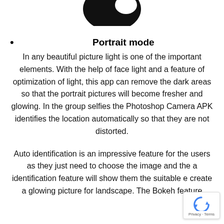[Figure (illustration): Partial silhouette of a camera lens or bird/photography icon, shown as a dark black shape at the top center of the page, cropped at the top.]
Portrait mode
In any beautiful picture light is one of the important elements. With the help of face light and a feature of optimization of light, this app can remove the dark areas so that the portrait pictures will become fresher and glowing. In the group selfies the Photoshop Camera APK identifies the location automatically so that they are not distorted.
Auto identification is an impressive feature for the users as they just need to choose the image and the a identification feature will show them the suitable e create a glowing picture for landscape. The Bokeh feature